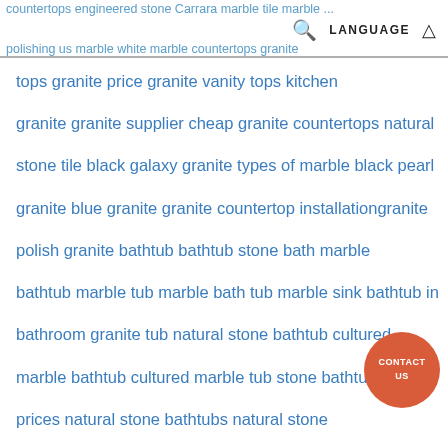countertops engineered stone Carrara marble tile marble polishing us marble white marble countertops granite
tops granite price granite vanity tops kitchen granite granite supplier cheap granite countertops natural stone tile black galaxy granite types of marble black pearl granite blue granite granite countertop installationgranite polish granite bathtub bathtub stone bath marble bathtub marble tub marble bath tub marble sink bathtub in bathroom granite tub natural stone bathtub cultured marble bathtub cultured marble tub stone bathtub prices natural stone bathtubs natural stone fireplaces fireplace granite fireplace travertine
[Figure (other): Orange circular contact button with text CONTACT US]